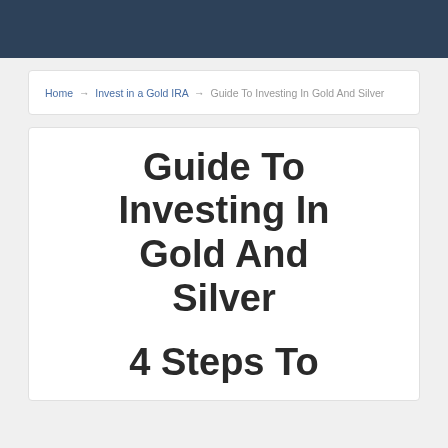Home → Invest in a Gold IRA → Guide To Investing In Gold And Silver
Guide To Investing In Gold And Silver
4 Steps To